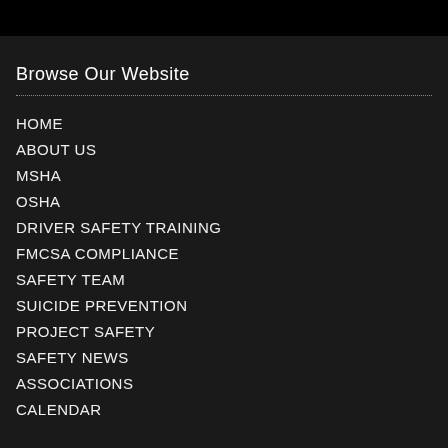Browse Our Website
HOME
ABOUT US
MSHA
OSHA
DRIVER SAFETY TRAINING
FMCSA COMPLIANCE
SAFETY TEAM
SUICIDE PREVENTION
PROJECT SAFETY
SAFETY NEWS
ASSOCIATIONS
CALENDAR